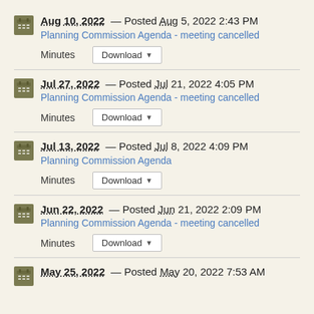Aug 10, 2022 — Posted Aug 5, 2022 2:43 PM
Planning Commission Agenda - meeting cancelled
Minutes Download
Jul 27, 2022 — Posted Jul 21, 2022 4:05 PM
Planning Commission Agenda - meeting cancelled
Minutes Download
Jul 13, 2022 — Posted Jul 8, 2022 4:09 PM
Planning Commission Agenda
Minutes Download
Jun 22, 2022 — Posted Jun 21, 2022 2:09 PM
Planning Commission Agenda - meeting cancelled
Minutes Download
May 25, 2022 — Posted May 20, 2022 7:53 AM